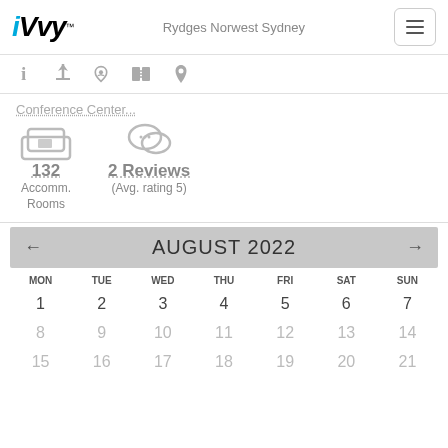iVvy — Rydges Norwest Sydney
Conference Center...
132 Accomm. Rooms
2 Reviews (Avg. rating 5)
[Figure (other): Calendar showing August 2022 with dates 1-21 visible. Navigation arrows on left and right. Days of week: MON TUE WED THU FRI SAT SUN.]